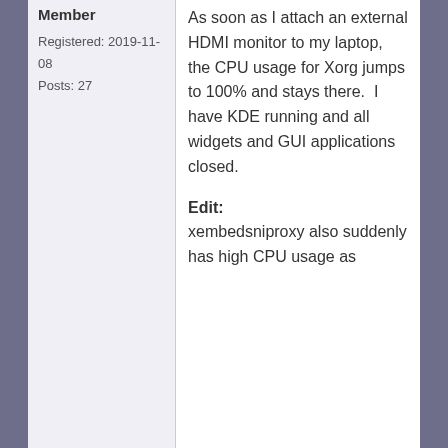Member
Registered: 2019-11-08
Posts: 27
As soon as I attach an external HDMI monitor to my laptop, the CPU usage for Xorg jumps to 100% and stays there.  I have KDE running and all widgets and GUI applications closed.
Edit: xembedsniproxy also suddenly has high CPU usage as